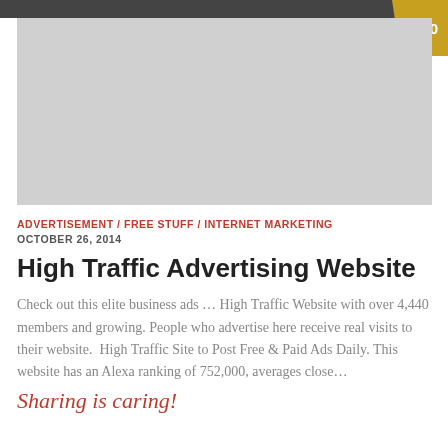[Figure (other): Gray placeholder advertisement image banner at top of page]
ADVERTISEMENT / FREE STUFF / INTERNET MARKETING
OCTOBER 26, 2014
High Traffic Advertising Website
Check out this elite business ads … High Traffic Website with over 4,440 members and growing. People who advertise here receive real visits to their website.  High Traffic Site to Post Free & Paid Ads Daily. This website has an Alexa ranking of 752,000, averages close…
Sharing is caring!